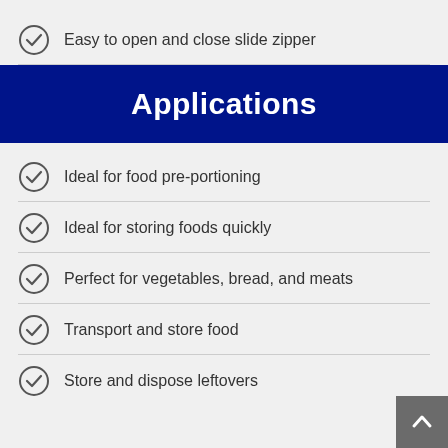Easy to open and close slide zipper
Applications
Ideal for food pre-portioning
Ideal for storing foods quickly
Perfect for vegetables, bread, and meats
Transport and store food
Store and dispose leftovers